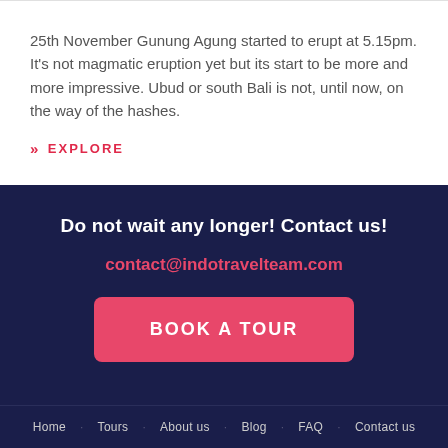25th November Gunung Agung started to erupt at 5.15pm. It's not magmatic eruption yet but its start to be more and more impressive. Ubud or south Bali is not, until now, on the way of the hashes.
>> EXPLORE
Do not wait any longer! Contact us!
contact@indotravelteam.com
BOOK A TOUR
Home · Tours · About us · Blog · FAQ · Contact us